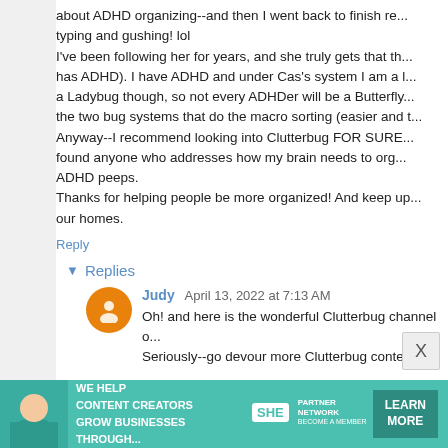about ADHD organizing--and then I went back to finish re... typing and gushing! lol
I've been following her for years, and she truly gets that th... has ADHD). I have ADHD and under Cas's system I am a l... a Ladybug though, so not every ADHDer will be a Butterfly... the two bug systems that do the macro sorting (easier and t... Anyway--I recommend looking into Clutterbug FOR SURE... found anyone who addresses how my brain needs to org... ADHD peeps.
Thanks for helping people be more organized! And keep up... our homes.
Reply
Replies
Judy April 13, 2022 at 7:13 AM
Oh! and here is the wonderful Clutterbug channel o... Seriously--go devour more Clutterbug content!
Reply
Jutta April 13, 2022 at 7:50 AM
[Figure (infographic): Advertisement bar for SHE Media Partner Network: 'We help content creators grow businesses through...' with Learn More button]